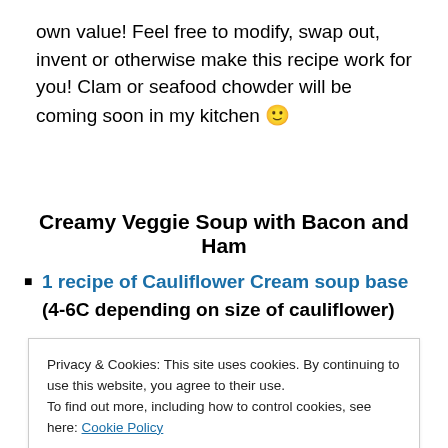own value! Feel free to modify, swap out, invent or otherwise make this recipe work for you! Clam or seafood chowder will be coming soon in my kitchen 🙂
Creamy Veggie Soup with Bacon and Ham
1 recipe of Cauliflower Cream soup base (4-6C depending on size of cauliflower)
1C diced bacon
Privacy & Cookies: This site uses cookies. By continuing to use this website, you agree to their use.
To find out more, including how to control cookies, see here: Cookie Policy
stock to use